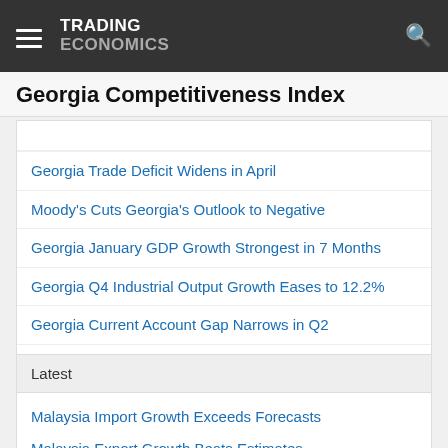TRADING ECONOMICS
Georgia Competitiveness Index
Georgia Trade Deficit Widens in April
Moody's Cuts Georgia's Outlook to Negative
Georgia January GDP Growth Strongest in 7 Months
Georgia Q4 Industrial Output Growth Eases to 12.2%
Georgia Current Account Gap Narrows in Q2
Georgia Jobless Rate Falls to 13-Year Low
Latest
Malaysia Import Growth Exceeds Forecasts
Malaysia Export Growth Beats Estimates